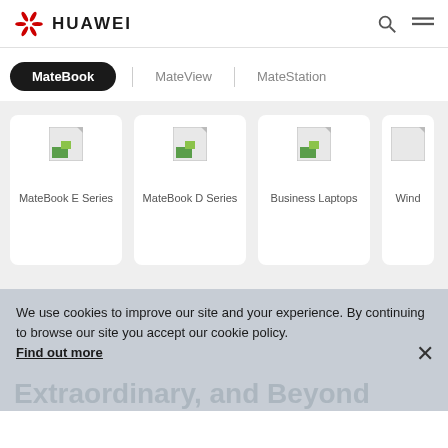HUAWEI
MateBook
MateView
MateStation
[Figure (screenshot): MateBook E Series product card with placeholder image]
MateBook E Series
[Figure (screenshot): MateBook D Series product card with placeholder image]
MateBook D Series
[Figure (screenshot): Business Laptops product card with placeholder image]
Business Laptops
Wind
We use cookies to improve our site and your experience. By continuing to browse our site you accept our cookie policy.
Find out more
Extraordinary, and Beyond